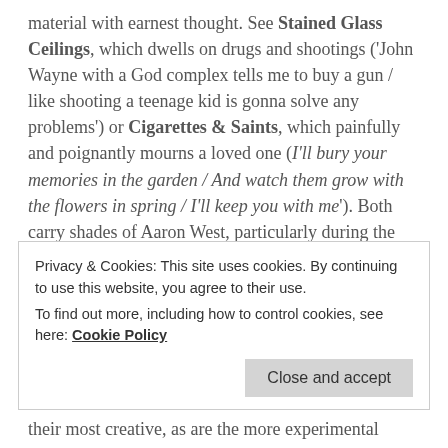material with earnest thought. See Stained Glass Ceilings, which dwells on drugs and shootings ('John Wayne with a God complex tells me to buy a gun / like shooting a teenage kid is gonna solve any problems') or Cigarettes & Saints, which painfully and poignantly mourns a loved one (I'll bury your memories in the garden / And watch them grow with the flowers in spring / I'll keep you with me'). Both carry shades of Aaron West, particularly during the delicate opening minute of the latter, and if he wasn't already then Campbell is the genres best lyricist, bordering on poetic at times and constantly pouring his all into his lines. His knack for crafting a narrative also carries over from the conceptual We Don't
Privacy & Cookies: This site uses cookies. By continuing to use this website, you agree to their use.
To find out more, including how to control cookies, see here: Cookie Policy
their most creative, as are the more experimental